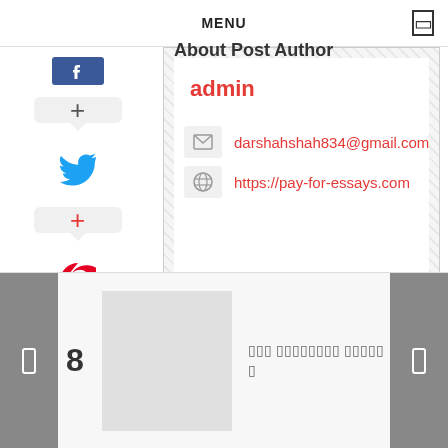MENU
About Post Author
admin
darshahshah834@gmail.com
https://pay-for-essays.com
8
??? ???????? ??????